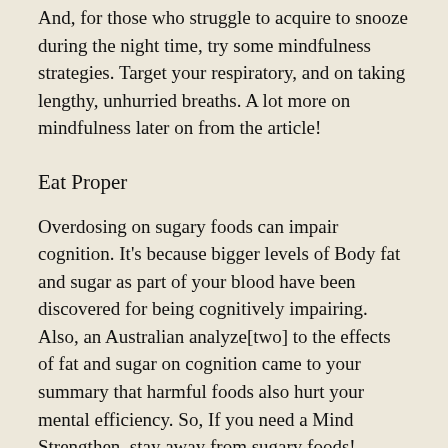And, for those who struggle to acquire to snooze during the night time, try some mindfulness strategies. Target your respiratory, and on taking lengthy, unhurried breaths. A lot more on mindfulness later on from the article!
Eat Proper
Overdosing on sugary foods can impair cognition. It's because bigger levels of Body fat and sugar as part of your blood have been discovered for being cognitively impairing. Also, an Australian analyze[two] to the effects of fat and sugar on cognition came to your summary that harmful foods also hurt your mental efficiency. So, If you need a Mind Strengthen, stay away from sugary foods! Nevertheless, this can be just